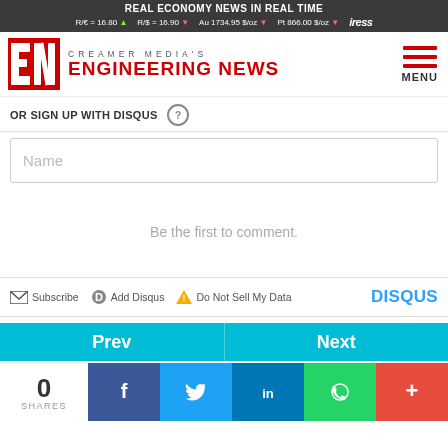REAL ECONOMY NEWS IN REAL TIME | R/€ = 16.80 ▲ R/$ = 16.90 ▼ Au 1734.95 $/oz ▼ Pt 866.00 $/oz ▼ iress
[Figure (logo): Creamer Media's Engineering News logo with red EN icon and red bold text]
OR SIGN UP WITH DISQUS ?
Name
Be the first to comment.
Subscribe | Add Disqus | Do Not Sell My Data | DISQUS
Prev | Next
0 SHARES